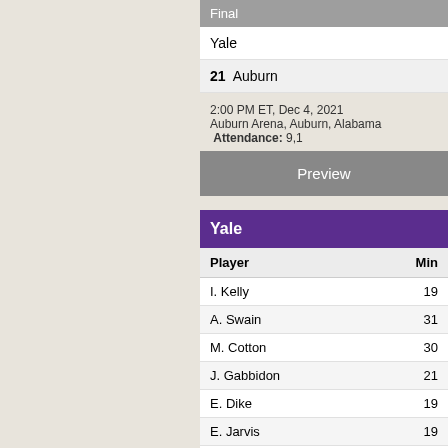| Final |
| --- |
| Yale |
| 21  Auburn |
2:00 PM ET, Dec 4, 2021
Auburn Arena, Auburn, Alabama  Attendance: 9,1...
Preview
| Yale |
| --- |
| Player | Min |
| --- | --- |
| I. Kelly | 19 |
| A. Swain | 31 |
| M. Cotton | 30 |
| J. Gabbidon | 21 |
| E. Dike | 19 |
| E. Jarvis | 19 |
| A. Mahoney | 14 |
| M. Feinberg | 12 |
| B. Mbeng | 10 |
| M. Knowling | 8 |
| J. Molloy | 7 |
| Y. Basa-Ama | 4 |
| Y. Gharram | 2 |
| J. Paulakidas |  |